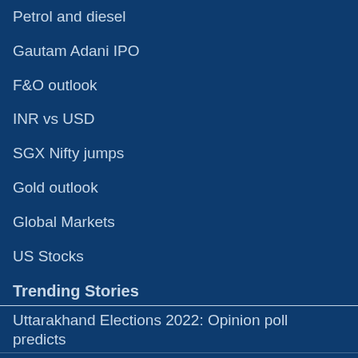Petrol and diesel
Gautam Adani IPO
F&O outlook
INR vs USD
SGX Nifty jumps
Gold outlook
Global Markets
US Stocks
Trending Stories
Uttarakhand Elections 2022: Opinion poll predicts
Congress edge over BJP, Harish Rawat popular CM